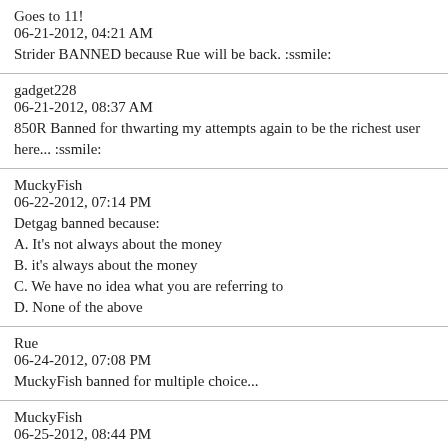Goes to 11!
06-21-2012, 04:21 AM
Strider BANNED because Rue will be back. :ssmile:
gadget228
06-21-2012, 08:37 AM
850R Banned for thwarting my attempts again to be the richest user here... :ssmile:
MuckyFish
06-22-2012, 07:14 PM
Detgag banned because:
A. It's not always about the money
B. it's always about the money
C. We have no idea what you are referring to
D. None of the above
Rue
06-24-2012, 07:08 PM
MuckyFish banned for multiple choice...
MuckyFish
06-25-2012, 08:44 PM
Stating the obvious and didn't select an answer, Rue today your banned!